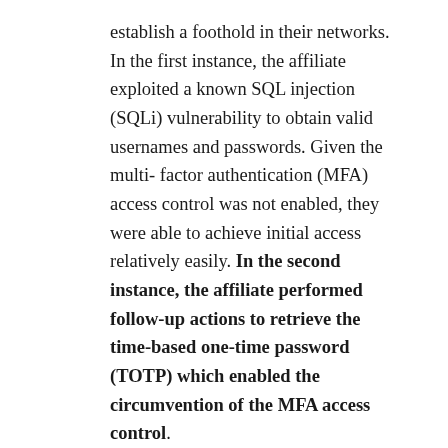establish a foothold in their networks. In the first instance, the affiliate exploited a known SQL injection (SQLi) vulnerability to obtain valid usernames and passwords. Given the multi-factor authentication (MFA) access control was not enabled, they were able to achieve initial access relatively easily. In the second instance, the affiliate performed follow-up actions to retrieve the time-based one-time password (TOTP) which enabled the circumvention of the MFA access control.
In this blog post we will report on their novel technique to exploit SonicWall SSLVPN appliances and bypass MFA. According to results from open source internet search